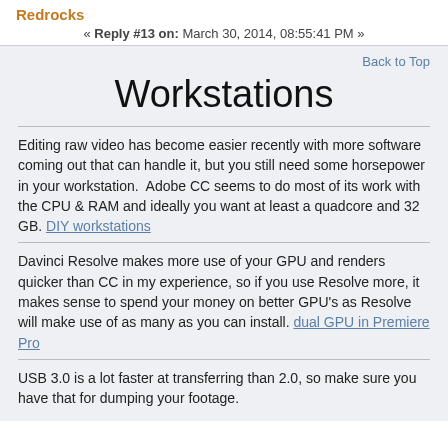Redrocks
« Reply #13 on: March 30, 2014, 08:55:41 PM »
Back to Top
Workstations
Editing raw video has become easier recently with more software coming out that can handle it, but you still need some horsepower in your workstation.  Adobe CC seems to do most of its work with the CPU & RAM and ideally you want at least a quadcore and 32 GB. DIY workstations
Davinci Resolve makes more use of your GPU and renders quicker than CC in my experience, so if you use Resolve more, it makes sense to spend your money on better GPU's as Resolve will make use of as many as you can install. dual GPU in Premiere Pro
USB 3.0 is a lot faster at transferring than 2.0, so make sure you have that for dumping your footage.